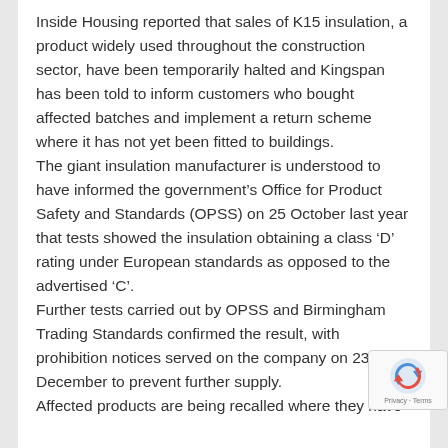Inside Housing reported that sales of K15 insulation, a product widely used throughout the construction sector, have been temporarily halted and Kingspan has been told to inform customers who bought affected batches and implement a return scheme where it has not yet been fitted to buildings.
The giant insulation manufacturer is understood to have informed the government’s Office for Product Safety and Standards (OPSS) on 25 October last year that tests showed the insulation obtaining a class ‘D’ rating under European standards as opposed to the advertised ‘C’.
Further tests carried out by OPSS and Birmingham Trading Standards confirmed the result, with prohibition notices served on the company on 23 December to prevent further supply.
Affected products are being recalled where they have